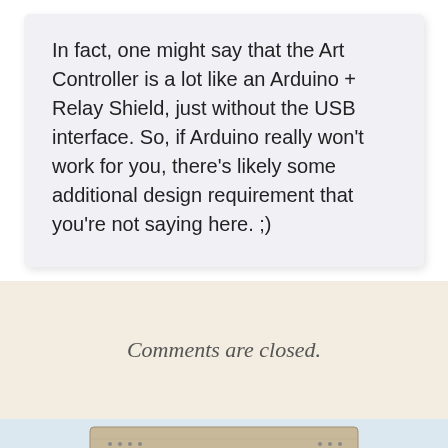In fact, one might say that the Art Controller is a lot like an Arduino + Relay Shield, just without the USB interface. So, if Arduino really won't work for you, there's likely some additional design requirement that you're not saying here. ;)
Comments are closed.
[Figure (photo): A photograph of an electronic device on a breadboard showing an LED display with orange/red characters that read 'E3 L' I L.' or similar text.]